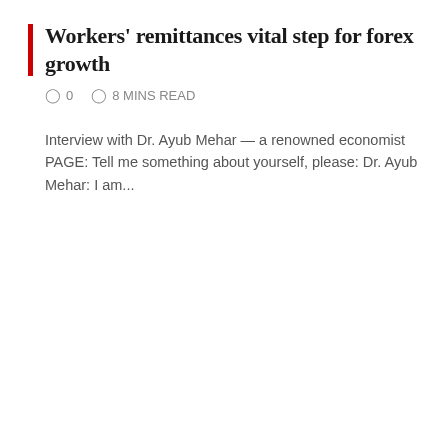Workers' remittances vital step for forex growth
0  8 MINS READ
Interview with Dr. Ayub Mehar — a renowned economist PAGE: Tell me something about yourself, please: Dr. Ayub Mehar: I am...